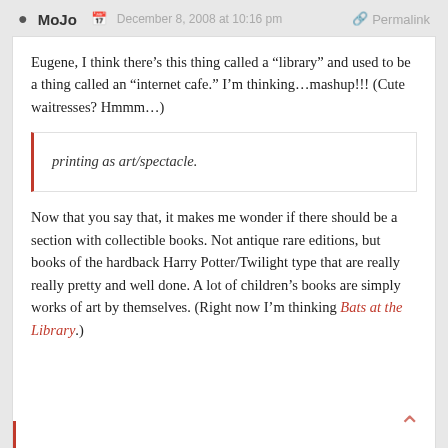MoJo  December 8, 2008 at 10:16 pm  Permalink
Eugene, I think there’s this thing called a “library” and used to be a thing called an “internet cafe.” I’m thinking…mashup!!! (Cute waitresses? Hmmm…)
printing as art/spectacle.
Now that you say that, it makes me wonder if there should be a section with collectible books. Not antique rare editions, but books of the hardback Harry Potter/Twilight type that are really really pretty and well done. A lot of children’s books are simply works of art by themselves. (Right now I’m thinking Bats at the Library.)